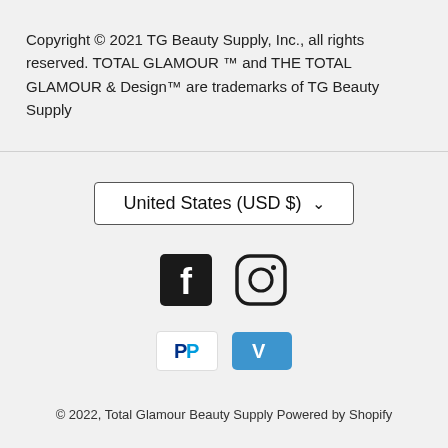Copyright © 2021 TG Beauty Supply, Inc., all rights reserved. TOTAL GLAMOUR ™ and THE TOTAL GLAMOUR & Design™ are trademarks of TG Beauty Supply
[Figure (other): Country/currency selector dropdown showing United States (USD $) with a chevron down arrow]
[Figure (other): Social media icons: Facebook (black square with F) and Instagram (circle camera icon)]
[Figure (other): Payment method icons: PayPal (white background with PayPal P logo) and Venmo (blue background with V logo)]
© 2022, Total Glamour Beauty Supply Powered by Shopify